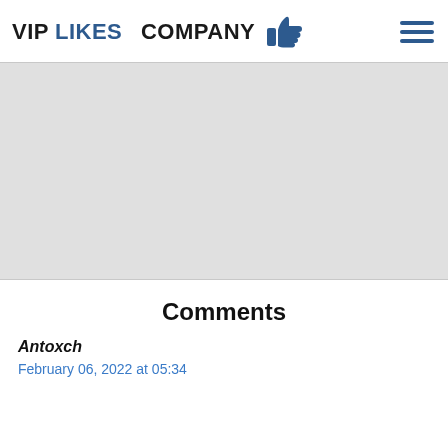VIPLIKES COMPANY
[Figure (other): Gray banner/advertisement area placeholder]
Comments
Antoxch
February 06, 2022 at 05:34